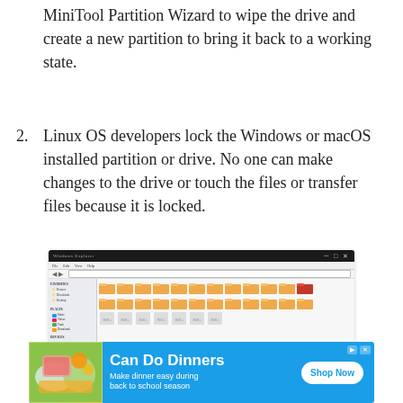MiniTool Partition Wizard to wipe the drive and create a new partition to bring it back to a working state.
2. Linux OS developers lock the Windows or macOS installed partition or drive. No one can make changes to the drive or touch the files or transfer files because it is locked.
[Figure (screenshot): A Windows file explorer screenshot showing folders and files organized in a grid view, with a navigation sidebar on the left and multiple yellow folder icons and file thumbnails in the main area.]
[Figure (infographic): Advertisement banner for 'Can Do Dinners' with blue background, food image on left, bold white text 'Can Do Dinners', subtitle 'Make dinner easy during back to school season', and a white 'Shop Now' button.]